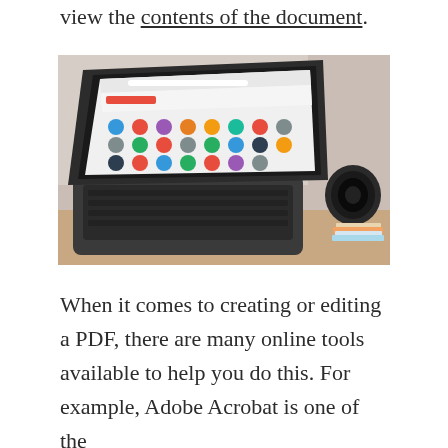view the contents of the document.
[Figure (photo): A laptop computer on a desk showing the PDFCandy website with colorful tool icons, with a camera lens and stack of magazines in the background.]
When it comes to creating or editing a PDF, there are many online tools available to help you do this. For example, Adobe Acrobat is one of the